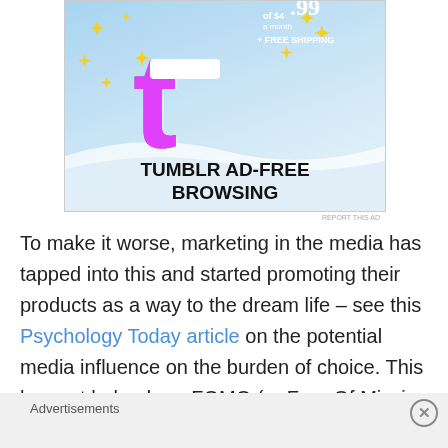[Figure (illustration): Tumblr ad banner showing the Tumblr 't' logo with sparkle stars on a light blue sky background. Text reads 'of $4.99 a month + FREE SHIPPING' in upper right and 'TUMBLR AD-FREE BROWSING' in bold black at the bottom.]
REPORT THIS AD
To make it worse, marketing in the media has tapped into this and started promoting their products as a way to the dream life – see this Psychology Today article on the potential media influence on the burden of choice. This has not helped our FOMO (or Fear Of Missing Out), which is part of the reason why we don’t want to make the choice
Advertisements